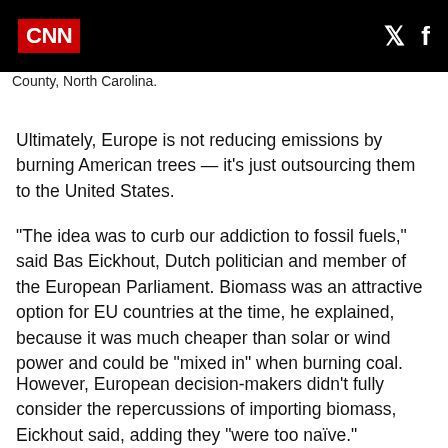CNN
County, North Carolina.
Ultimately, Europe is not reducing emissions by burning American trees — it's just outsourcing them to the United States.
“The idea was to curb our addiction to fossil fuels,” said Bas Eickhout, Dutch politician and member of the European Parliament. Biomass was an attractive option for EU countries at the time, he explained, because it was much cheaper than solar or wind power and could be “mixed in” when burning coal.
However, European decision-makers didn’t fully consider the repercussions of importing biomass, Eickhout said, adding they “were too naïve.”